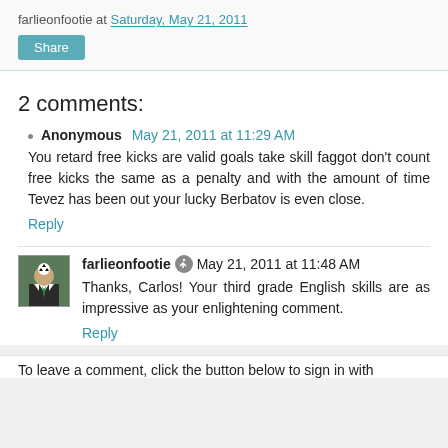farlieonfootie at Saturday, May 21, 2011
Share
2 comments:
Anonymous May 21, 2011 at 11:29 AM
You retard free kicks are valid goals take skill faggot don't count free kicks the same as a penalty and with the amount of time Tevez has been out your lucky Berbatov is even close.
Reply
farlieonfootie May 21, 2011 at 11:48 AM
Thanks, Carlos! Your third grade English skills are as impressive as your enlightening comment.
Reply
To leave a comment, click the button below to sign in with